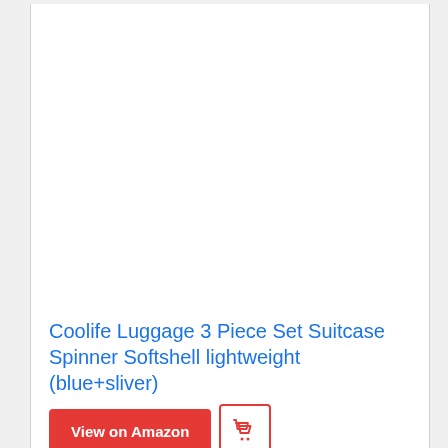[Figure (other): White empty product image area for a luggage product]
Coolife Luggage 3 Piece Set Suitcase Spinner Softshell lightweight (blue+sliver)
View on Amazon
[Figure (other): Shopping cart icon button]